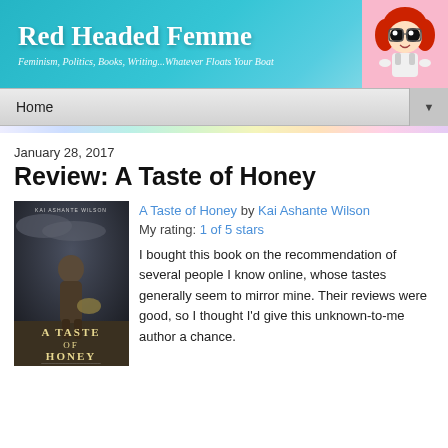Red Headed Femme
Feminism, Politics, Books, Writing...Whatever Floats Your Boat
Home
January 28, 2017
Review: A Taste of Honey
[Figure (illustration): Book cover of 'A Taste of Honey' by Kai Ashante Wilson, showing a dark atmospheric image with a figure and the title text in large letters]
A Taste of Honey by Kai Ashante Wilson
My rating: 1 of 5 stars

I bought this book on the recommendation of several people I know online, whose tastes generally seem to mirror mine. Their reviews were good, so I thought I'd give this unknown-to-me author a chance.